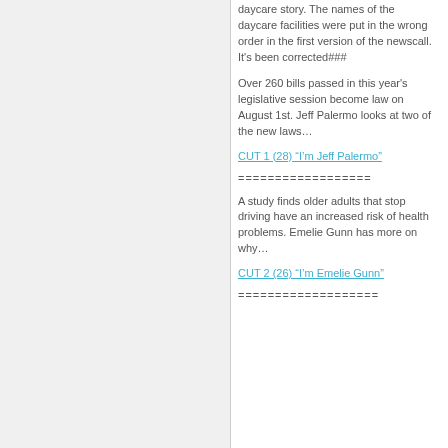daycare story. The names of the daycare facilities were put in the wrong order in the first version of the newscall. It's been corrected###
Over 260 bills passed in this year's legislative session become law on August 1st. Jeff Palermo looks at two of the new laws…
CUT 1 (28) “I’m Jeff Palermo”
==================
A study finds older adults that stop driving have an increased risk of health problems. Emelie Gunn has more on why…
CUT 2 (26) “I’m Emelie Gunn”
===================